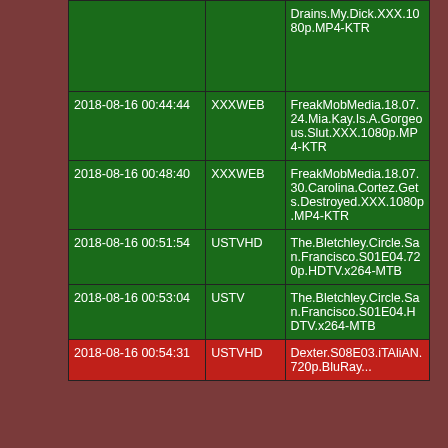|  |  |  |
| --- | --- | --- |
|  |  | Drains.My.Dick.XXX.1080p.MP4-KTR |
| 2018-08-16 00:44:44 | XXXWEB | FreakMobMedia.18.07.24.Mia.Kay.Is.A.Gorgeous.Slut.XXX.1080p.MP4-KTR |
| 2018-08-16 00:48:40 | XXXWEB | FreakMobMedia.18.07.30.Carolina.Cortez.Gets.Destroyed.XXX.1080p.MP4-KTR |
| 2018-08-16 00:51:54 | USTVHD | The.Bletchley.Circle.San.Francisco.S01E04.720p.HDTV.x264-MTB |
| 2018-08-16 00:53:04 | USTV | The.Bletchley.Circle.San.Francisco.S01E04.HDTV.x264-MTB |
| 2018-08-16 00:54:31 | USTVHD | Dexter.S08E03.iTAliAN.720p.BluRay... |